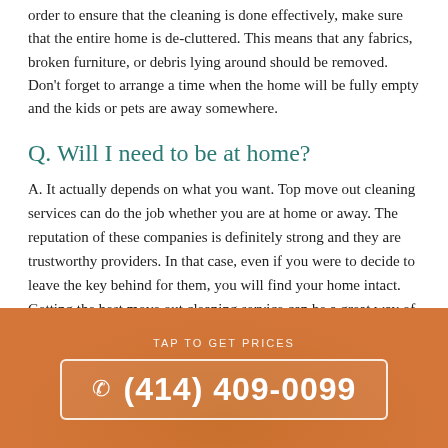order to ensure that the cleaning is done effectively, make sure that the entire home is de-cluttered. This means that any fabrics, broken furniture, or debris lying around should be removed. Don't forget to arrange a time when the home will be fully empty and the kids or pets are away somewhere.
Q. Will I need to be at home?
A. It actually depends on what you want. Top move out cleaning services can do the job whether you are at home or away. The reputation of these companies is definitely strong and they are trustworthy providers. In that case, even if you were to decide to leave the key behind for them, you will find your home intact. Getting the best move out cleaning service can be a great way of reducing the stress that comes with moving. There are many great cleaning companies out there, and you only need to choose one.
TAP TO GET PRICES
(414) 409-0099